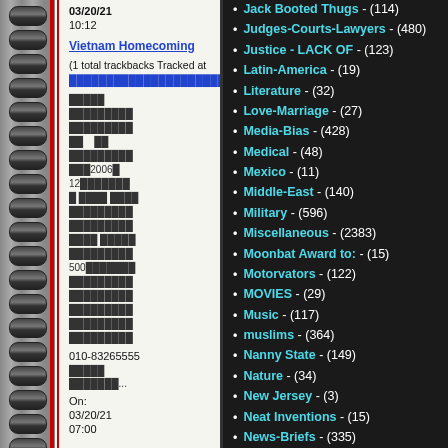03/20/21 10:12
Vietnam Homecoming (1 total trackbacks Tracked at [link])
[garbled text] 010-83265555 [garbled]... On: 03/20/21 07:00
Jack Booted Thugs - (114)
Judges-Courts-Lawyers - (480)
Justice - LACK OF - (123)
Latin-America - (19)
Literature - (32)
Love-Marriage - (27)
Media-Bias - (428)
Medical - (48)
Mexico - (11)
Middle-East - (140)
Military - (596)
Miscellaneous - (2383)
Moonbat Award to: - (15)
Motorvators - (122)
MOVIES - (29)
Music - (117)
muslims - (364)
Nanny State - (149)
Nature - (34)
New Jersey - (3)
Neat Inventions - (15)
News-Briefs - (335)
No Shit, Sherlock - (47)
North-Korea - (20)
NOSTALGIA - (10)
Obama, The One - (431)
OBITITARIES - (48)
Odd-Strange - (244)
Oil, Alternative Energy, and Gas Prices - (126)
Oppression - (34)
Outrageous - (453)
Outsourcing - (8)
OUTSTANDING ACHIEVEMENT - (39)
pandemic and epidemic diseases - (61)
The New Normal - (4)
Pandemic Pandemonium - (63)
Paleswine - (74)
PAT CONDELL - (43)
Patriotism - (151)